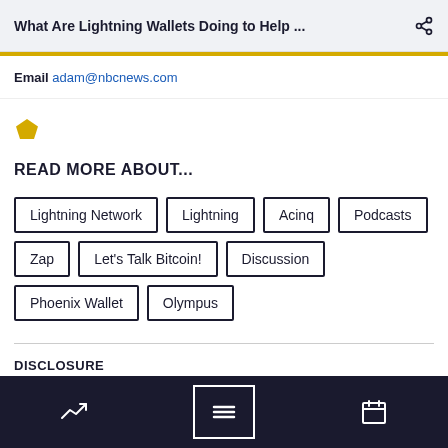What Are Lightning Wallets Doing to Help ...
Email adam@nbcnews.com
[Figure (illustration): Gold pentagon/shield icon]
READ MORE ABOUT...
Lightning Network
Lightning
Acinq
Podcasts
Zap
Let's Talk Bitcoin!
Discussion
Phoenix Wallet
Olympus
DISCLOSURE
The leader in news and information on cryptocurrency, digital
Navigation bar with trending, menu, and calendar icons